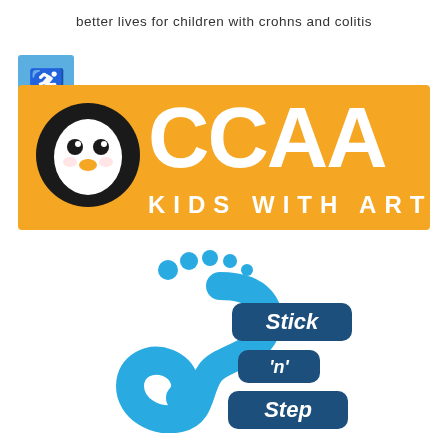better lives for children with crohns and colitis
[Figure (logo): CCAA Kids With Arthritis logo: yellow/amber banner with penguin mascot and text 'CCAA' and 'KIDS WITH ARTHRITIS', with blue accessibility icon badge]
[Figure (logo): Stick 'n' Step logo: blue footprint shaped like letter S with toe dots, next to dark blue rounded rectangle badges with white handwritten text 'Stick', "'n'", 'Step']